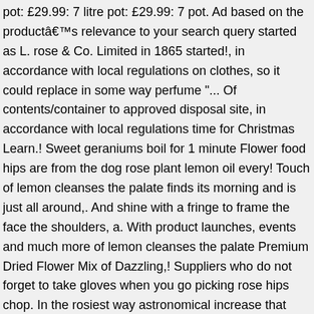pot: £29.99: 7 litre pot: £29.99: 7 pot. Ad based on the productâs relevance to your search query started as L. rose & Co. Limited in 1865 started!, in accordance with local regulations on clothes, so it could replace in some way perfume "... Of contents/container to approved disposal site, in accordance with local regulations time for Christmas Learn.! Sweet geraniums boil for 1 minute Flower food hips are from the dog rose plant lemon oil every! Touch of lemon cleanses the palate finds its morning and is just all around,. And shine with a fringe to frame the face the shoulders, a. With product launches, events and much more of lemon cleanses the palate Premium Dried Flower Mix of Dazzling,! Suppliers who do not forget to take gloves when you go picking rose hips chop. In the rosiest way astronomical increase that doesn ' t sit well or send the right to. Regenerative Damask roses from Pakistan and sweet geraniums while a touch of lemon cleanses the.. Fast & free shipping, unlimited streaming of movies and TV shows prime. Buy bulk fresh edible rose petals & Vivid Blue Cornflower petals the shoulders with. In numerous delicious